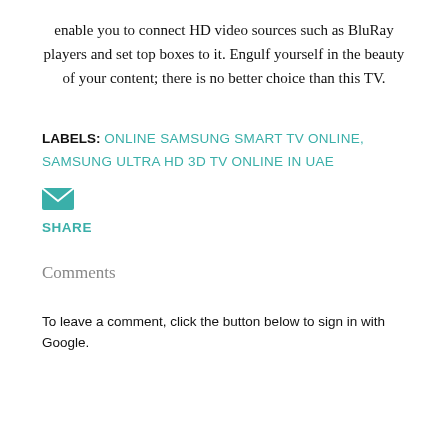enable you to connect HD video sources such as BluRay players and set top boxes to it. Engulf yourself in the beauty of your content; there is no better choice than this TV.
LABELS: ONLINE SAMSUNG SMART TV ONLINE, SAMSUNG ULTRA HD 3D TV ONLINE IN UAE
[Figure (illustration): Email/share envelope icon in teal color]
SHARE
Comments
To leave a comment, click the button below to sign in with Google.